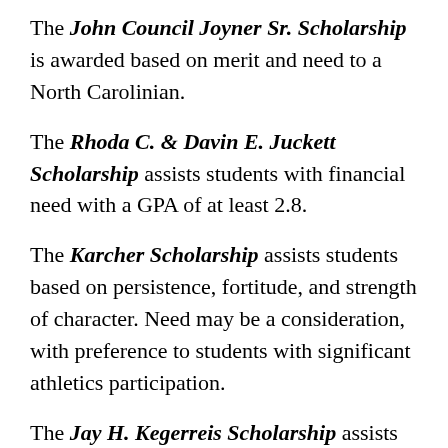The John Council Joyner Sr. Scholarship is awarded based on merit and need to a North Carolinian.
The Rhoda C. & Davin E. Juckett Scholarship assists students with financial need with a GPA of at least 2.8.
The Karcher Scholarship assists students based on persistence, fortitude, and strength of character. Need may be a consideration, with preference to students with significant athletics participation.
The Jay H. Kegerreis Scholarship assists continuing students having a 3.0 grade point average, high moral character, and a willingness to work